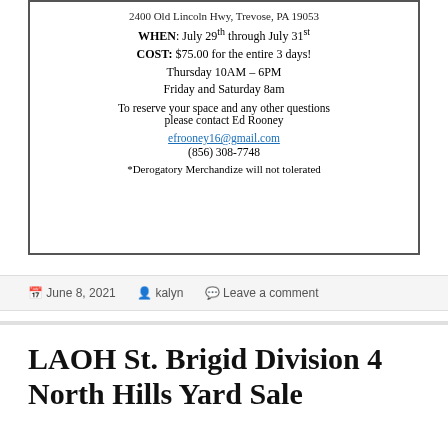2400 Old Lincoln Hwy, Trevose, PA 19053
WHEN: July 29th through July 31st
COST: $75.00 for the entire 3 days!
Thursday 10AM – 6PM
Friday and Saturday 8am
To reserve your space and any other questions please contact Ed Rooney
efrooney16@gmail.com
(856) 308-7748
*Derogatory Merchandize will not tolerated
June 8, 2021   kalyn   Leave a comment
LAOH St. Brigid Division 4 North Hills Yard Sale